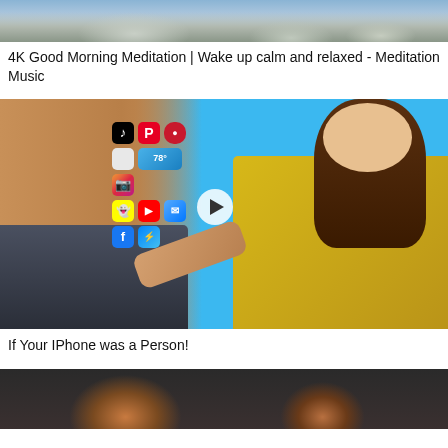[Figure (photo): Cropped top portion of a mountain/nature scene thumbnail, showing snowy peaks and sky]
4K Good Morning Meditation | Wake up calm and relaxed - Meditation Music
[Figure (photo): Thumbnail showing a muscular torso with social media app icons (TikTok, Pinterest, Among Us, weather app showing 78°, Instagram, Snapchat, YouTube, Messenger, Facebook, Messages) overlaid on the stomach, and a surprised woman in a yellow jacket pointing at the apps. A play button overlay is visible in the center-right area.]
If Your IPhone was a Person!
[Figure (photo): Partial thumbnail at bottom showing two figures with hats in a dark/dim setting]